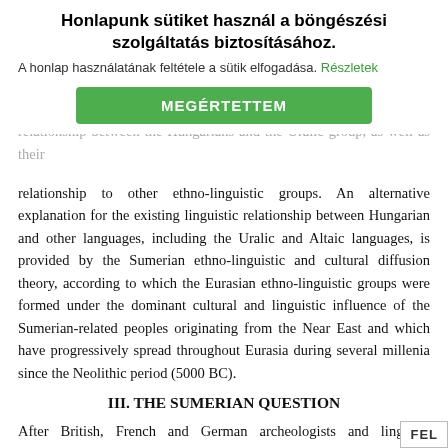there are many similarities between Hungarian and several other non-Indo-European language groups, and although the Finno-Ugrians claims that these similarities are the results of borrowings on the part of the non-Finno-Ugric languages, it is impossible that the Finno-Ugrian theory requires a fundamental revision concerning the relationship between the Hungarians and the Uralic group, as well as their relationship to other ethno-linguistic groups. An alternative explanation for the existing linguistic relationship between Hungarian and other languages, including the Uralic and Altaic languages, is provided by the Sumerian ethno-linguistic and cultural diffusion theory, according to which the Eurasian ethno-linguistic groups were formed under the dominant cultural and linguistic influence of the Sumerian-related peoples originating from the Near East and which have progressively spread throughout Eurasia during several millenia since the Neolithic period (5000 BC).
III. THE SUMERIAN QUESTION
After British, French and German archeologists and linguists discovered and deciphered the oldest known written records in Mesopotamia and its neighbouring
Honlapunk sütiket használ a böngészési szolgáltatás biztosításához. A honlap használatának feltétele a sütik elfogadása. Részletek MEGÉRTETTEM